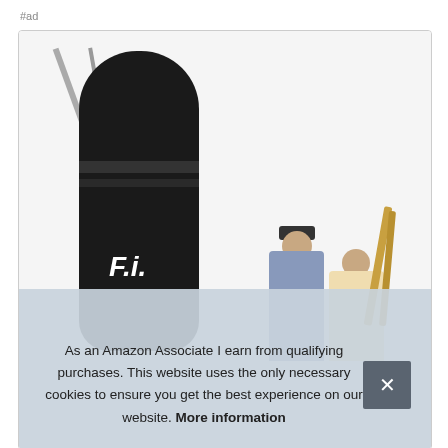#ad
[Figure (photo): A black cylindrical archery arrow bag/quiver with logo and metallic arrow sticking out the top. In the background, two people (one in a gray hoodie with a dark cap, one with a ponytail) are seen from behind, carrying bamboo arrows.]
As an Amazon Associate I earn from qualifying purchases. This website uses the only necessary cookies to ensure you get the best experience on our website. More information